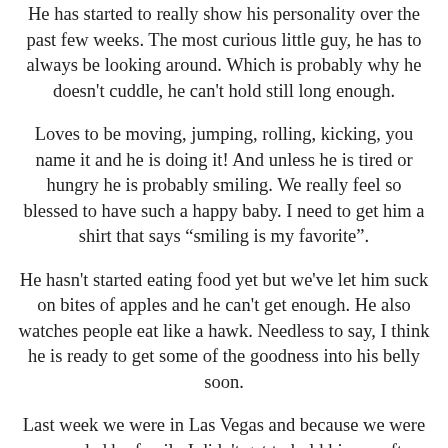He has started to really show his personality over the past few weeks. The most curious little guy, he has to always be looking around. Which is probably why he doesn't cuddle, he can't hold still long enough.
Loves to be moving, jumping, rolling, kicking, you name it and he is doing it! And unless he is tired or hungry he is probably smiling. We really feel so blessed to have such a happy baby. I need to get him a shirt that says "smiling is my favorite".
He hasn't started eating food yet but we've let him suck on bites of apples and he can't get enough. He also watches people eat like a hawk. Needless to say, I think he is ready to get some of the goodness into his belly soon.
Last week we were in Las Vegas and because we were surrounded by family I didn't get to hold him as often. So my favorite thing ever was when I'd walk by and he'd hear my voice and immediately would turn to find me and then smile. Talk about melting my heart! And let's talk about how he feels about his dad. He could recognize his dad's voice across the